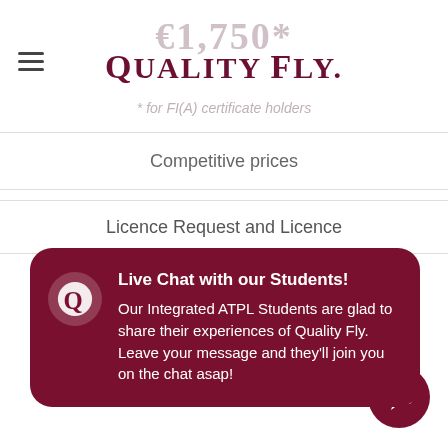€1,750* Quality Fly. * for FI(A) certificate holders
Competitive prices
Licence Request and Licence
[Figure (infographic): Dark red rounded chat popup with Quality Fly logo icon, heading 'Live Chat with our Students!' and body text about Integrated ATPL Students sharing experiences]
TBC